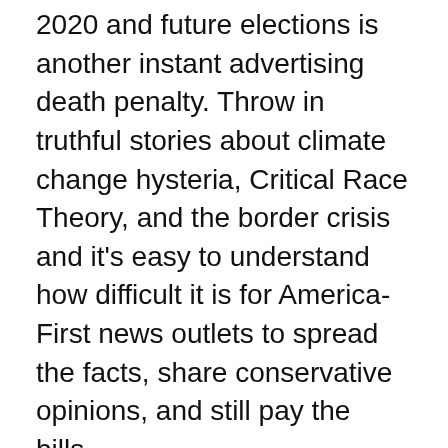2020 and future elections is another instant advertising death penalty. Throw in truthful stories about climate change hysteria, Critical Race Theory, and the border crisis and it's easy to understand how difficult it is for America-First news outlets to spread the facts, share conservative opinions, and still pay the bills.
Without naming names, I have been told of several news outlets who have been forced to either consolidate with larger organizations or who have backed down on covering certain topics out of fear of being “canceled” by the ad networks. I get it. This is a business for many of us and it’s not very profitable. Those of us who do this for a living are often barely squeaking by, so loss of additional revenue